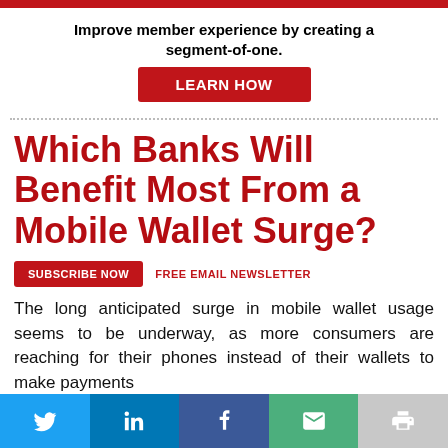Improve member experience by creating a segment-of-one.
[Figure (other): LEARN HOW button (red background, white text)]
Which Banks Will Benefit Most From a Mobile Wallet Surge?
[Figure (other): SUBSCRIBE NOW button (red) and FREE EMAIL NEWSLETTER label]
The long anticipated surge in mobile wallet usage seems to be underway, as more consumers are reaching for their phones instead of their wallets to make payments
[Figure (other): Social sharing bar with Twitter, LinkedIn, Facebook, Email, and Print buttons]